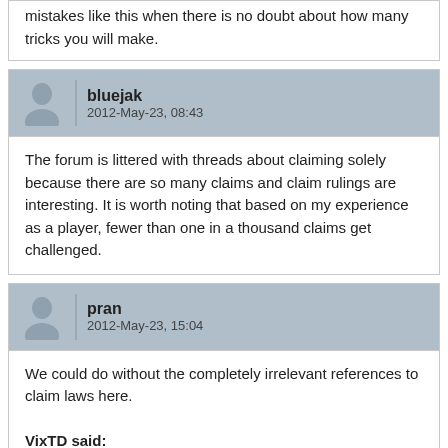mistakes like this when there is no doubt about how many tricks you will make.
bluejak
2012-May-23, 08:43
The forum is littered with threads about claiming solely because there are so many claims and claim rulings are interesting. It is worth noting that based on my experience as a player, fewer than one in a thousand claims get challenged.
pran
2012-May-23, 15:04
We could do without the completely irrelevant references to claim laws here.

VixTD said:
[...]
Hearts are trumps. A spade is led from dummy and ruffed by South